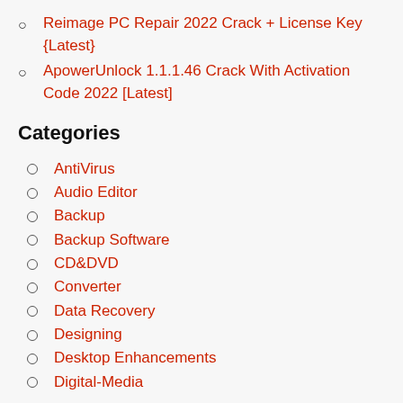Reimage PC Repair 2022 Crack + License Key {Latest}
ApowerUnlock 1.1.1.46 Crack With Activation Code 2022 [Latest]
Categories
AntiVirus
Audio Editor
Backup
Backup Software
CD&DVD
Converter
Data Recovery
Designing
Desktop Enhancements
Digital-Media